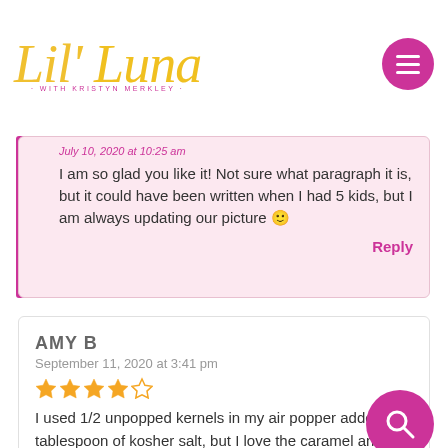Lil' Luna · WITH KRISTYN MERKLEY
July 10, 2020 at 10:25 am
I am so glad you like it! Not sure what paragraph it is, but it could have been written when I had 5 kids, but I am always updating our picture 🙂
Reply
AMY B
September 11, 2020 at 3:41 pm
★★★★☆
I used 1/2 unpopped kernels in my air popper added a tablespoon of kosher salt, but I love the caramel and marshmallows together!
Reply